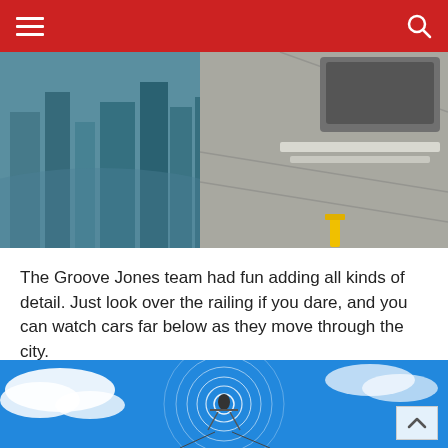Navigation header with hamburger menu and search icon
[Figure (photo): Rooftop view of a city from a high-rise building. The left side shows skyscrapers far below with a teal/blue tint. The right side shows a concrete rooftop surface with a raised planter box and some equipment.]
The Groove Jones team had fun adding all kinds of detail. Just look over the railing if you dare, and you can watch cars far below as they move through the city.
[Figure (photo): A person hang gliding or zip-lining against a bright blue sky with white clouds. The figure is seen from below with circular ripple/shockwave rings around them.]